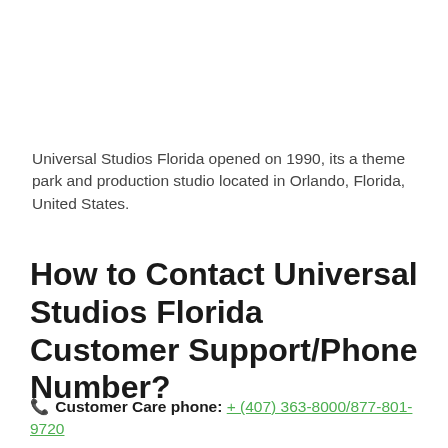Universal Studios Florida opened on 1990, its a theme park and production studio located in Orlando, Florida, United States.
How to Contact Universal Studios Florida Customer Support/Phone Number?
📞 Customer Care phone: + (407) 363-8000/877-801-9720